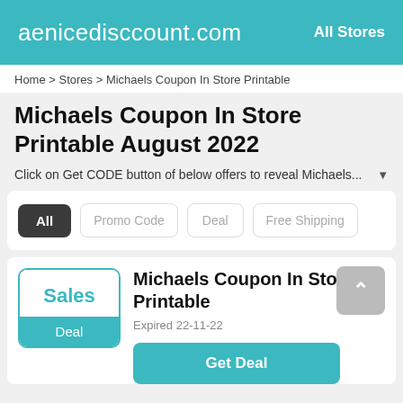aenicedisccount.com — All Stores
Home > Stores > Michaels Coupon In Store Printable
Michaels Coupon In Store Printable August 2022
Click on Get CODE button of below offers to reveal Michaels...
All  Promo Code  Deal  Free Shipping
Michaels Coupon In Store Printable
Expired 22-11-22
Get Deal